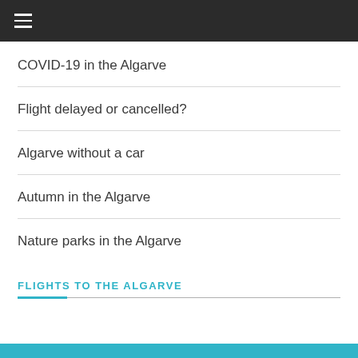≡
COVID-19 in the Algarve
Flight delayed or cancelled?
Algarve without a car
Autumn in the Algarve
Nature parks in the Algarve
FLIGHTS TO THE ALGARVE